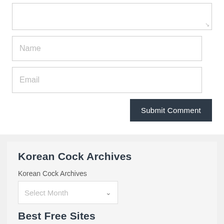[Figure (screenshot): Comment form with textarea (partially visible at top), Name input field, Email input field, and Submit Comment button]
Korean Cock Archives
Korean Cock Archives
[Figure (screenshot): Select Month dropdown]
Best Free Sites